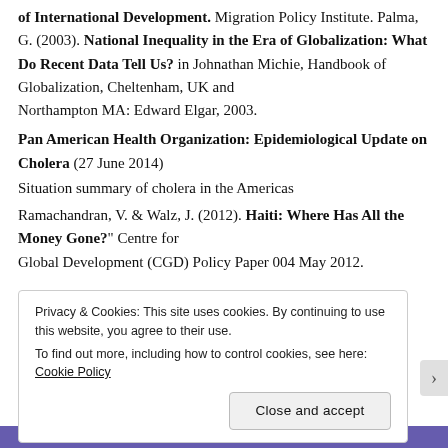of International Development. Migration Policy Institute. Palma, G. (2003). National Inequality in the Era of Globalization: What Do Recent Data Tell Us? in Johnathan Michie, Handbook of Globalization, Cheltenham, UK and Northampton MA: Edward Elgar, 2003.
Pan American Health Organization: Epidemiological Update on Cholera (27 June 2014)
Situation summary of cholera in the Americas
Ramachandran, V. & Walz, J. (2012). Haiti: Where Has All the Money Gone?" Centre for Global Development (CGD) Policy Paper 004 May 2012.
Privacy & Cookies: This site uses cookies. By continuing to use this website, you agree to their use. To find out more, including how to control cookies, see here: Cookie Policy